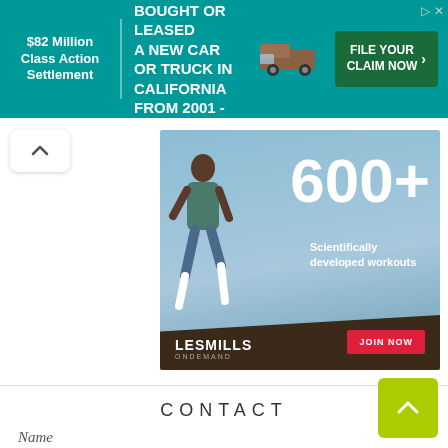[Figure (infographic): Class action settlement advertisement banner: '$82 Million Class Action Settlement - IF YOU BOUGHT OR LEASED A NEW CAR OR TRUCK IN CALIFORNIA FROM 2001 - 2003 - FILE YOUR CLAIM NOW' with teal background and truck image]
[Figure (infographic): LesMills ONDEMAND advertisement: '600+ Scientifically developed workouts' with woman jumping, JOIN NOW button, dark brown bottom bar with logo]
CONTACT
Name